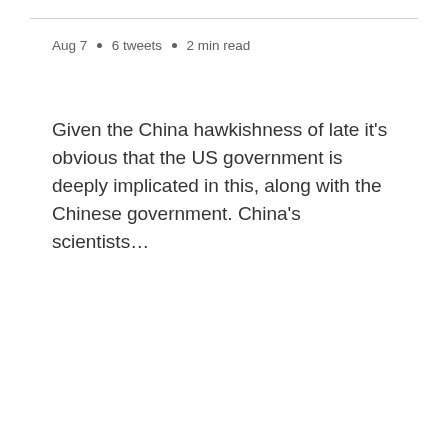Aug 7 · 6 tweets · 2 min read
Given the China hawkishness of late it's obvious that the US government is deeply implicated in this, along with the Chinese government. China's scientists…